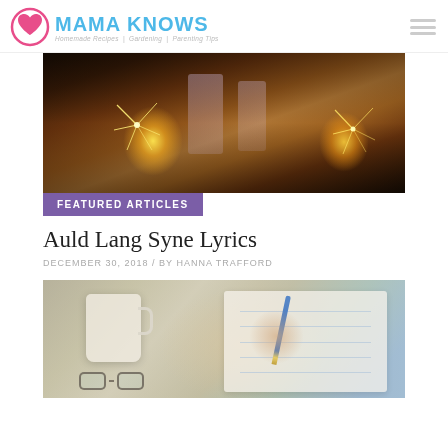MAMA KNOWS — Homemade Recipes | Gardening | Parenting Tips
[Figure (photo): Women holding champagne glasses and sparklers at a New Year celebration, dark background]
FEATURED ARTICLES
Auld Lang Syne Lyrics
DECEMBER 30, 2018 / BY HANNA TRAFFORD
[Figure (photo): Person writing in a notebook with a pencil, coffee mug and glasses on the table beside them]